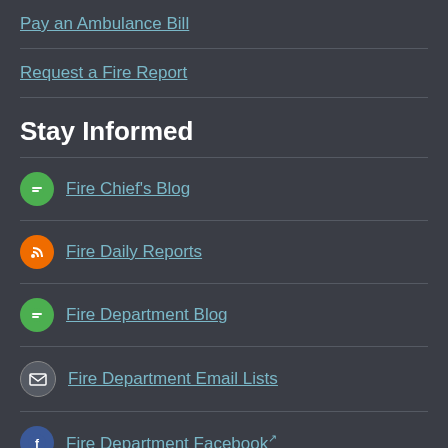Pay an Ambulance Bill
Request a Fire Report
Stay Informed
Fire Chief's Blog
Fire Daily Reports
Fire Department Blog
Fire Department Email Lists
Fire Department Facebook↗
Fire Department Instagram↗
Fire Department Twitter↗
Fire News Releases